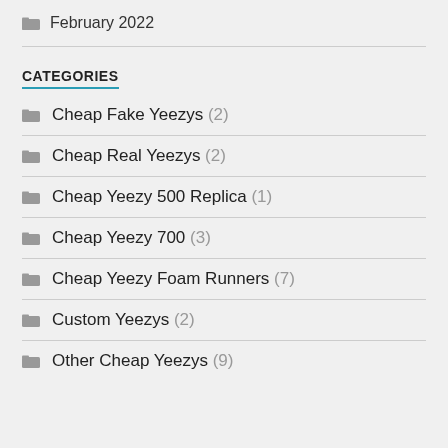February 2022
CATEGORIES
Cheap Fake Yeezys (2)
Cheap Real Yeezys (2)
Cheap Yeezy 500 Replica (1)
Cheap Yeezy 700 (3)
Cheap Yeezy Foam Runners (7)
Custom Yeezys (2)
Other Cheap Yeezys (9)